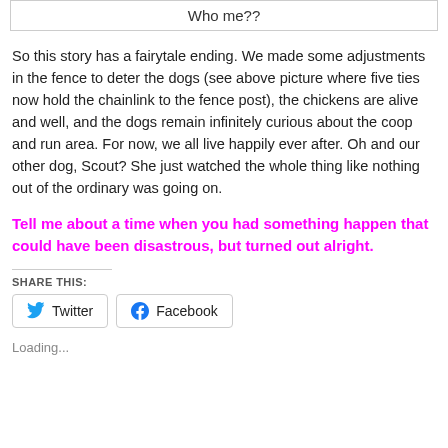Who me??
So this story has a fairytale ending. We made some adjustments in the fence to deter the dogs (see above picture where five ties now hold the chainlink to the fence post), the chickens are alive and well, and the dogs remain infinitely curious about the coop and run area. For now, we all live happily ever after. Oh and our other dog, Scout? She just watched the whole thing like nothing out of the ordinary was going on.
Tell me about a time when you had something happen that could have been disastrous, but turned out alright.
SHARE THIS:
Twitter  Facebook
Loading...